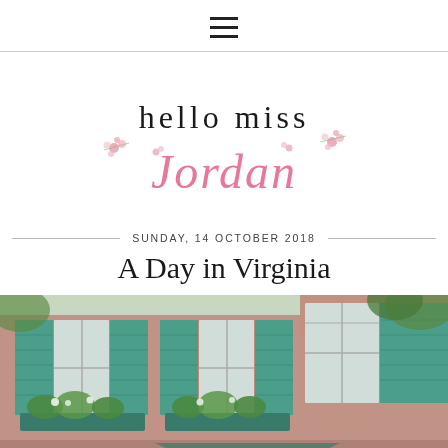☰ (hamburger menu icon)
[Figure (logo): Hello Miss Jordan blog logo with pink floral decorations. 'hello miss' in black serif font, 'Jordan' in pink cursive script with pink flowers.]
SUNDAY, 14 OCTOBER 2018
A Day in Virginia
[Figure (photo): Photo of a building exterior with teal/turquoise shutters, window boxes with green plants and white flowers, pink-painted window trim, and brick facade.]